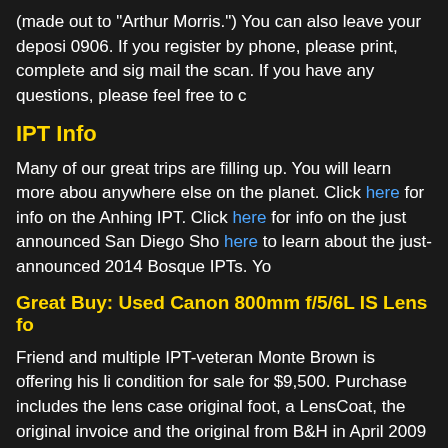(made out to "Arthur Morris.") You can also leave your deposit by phone at 0906. If you register by phone, please print, complete and sign the form and mail the scan. If you have any questions, please feel free to c
IPT Info
Many of our great trips are filling up. You will learn more about anywhere else on the planet. Click here for info on the Anhing IPT. Click here for info on the just announced San Diego Sho here to learn about the just-announced 2014 Bosque IPTs. Yo
Great Buy: Used Canon 800mm f/5/6L IS Lens fo
Friend and multiple IPT-veteran Monte Brown is offering his li condition for sale for $9,500. Purchase includes the lens case original foot, a LensCoat, the original invoice and the original from B&H in April 2009 and was recently underwent a pre-sal shipping via UPS Ground to US addresses only. The lens will
The Canon EF 800mm f/5.6L IS USM Autofocus lens sells lens. No need to ever use a 2X...
If interested you can contact Monte by phone at 1-765-744-14
Last Year's Grand Prize winni